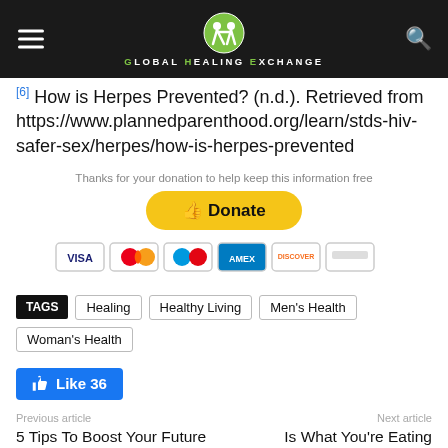Global Healing Exchange
[6] How is Herpes Prevented? (n.d.). Retrieved from https://www.plannedparenthood.org/learn/stds-hiv-safer-sex/herpes/how-is-herpes-prevented
[Figure (other): PayPal Donate button with accepted credit card logos (Visa, Mastercard, etc.) and text 'Thanks for your donation to help keep this information free']
TAGS  Healing  Healthy Living  Men's Health  Woman's Health
Like 36
Previous article
5 Tips To Boost Your Future Health
Next article
Is What You're Eating Making You Sick?